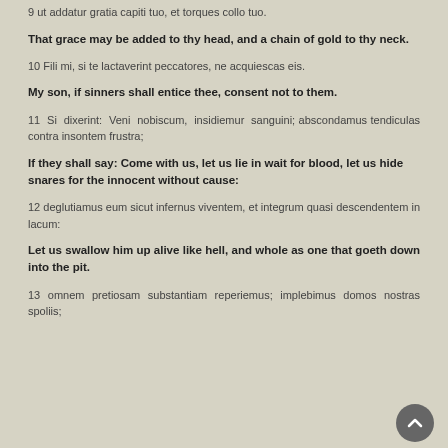9 ut addatur gratia capiti tuo, et torques collo tuo.
That grace may be added to thy head, and a chain of gold to thy neck.
10 Fili mi, si te lactaverint peccatores, ne acquiescas eis.
My son, if sinners shall entice thee, consent not to them.
11  Si  dixerint:  Veni  nobiscum,  insidiemur  sanguini; abscondamus tendiculas contra insontem frustra;
If they shall say: Come with us, let us lie in wait for blood, let us hide snares for the innocent without cause:
12 deglutiamus eum sicut infernus viventem, et integrum quasi descendentem in lacum:
Let us swallow him up alive like hell, and whole as one that goeth down into the pit.
13 omnem pretiosam substantiam reperiemus; implebimus domos nostras spoliis;